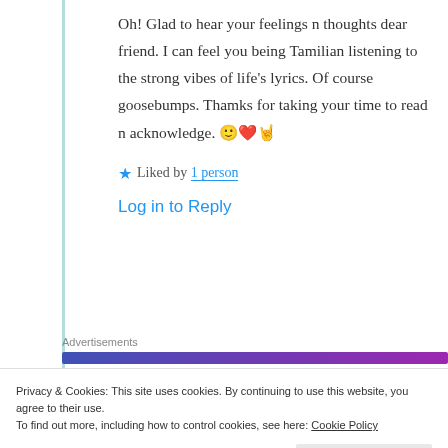Oh! Glad to hear your feelings n thoughts dear friend. I can feel you being Tamilian listening to the strong vibes of life's lyrics. Of course goosebumps. Thamks for taking your time to read n acknowledge. 🙂❤️🤘
★ Liked by 1 person
Log in to Reply
Advertisements
Privacy & Cookies: This site uses cookies. By continuing to use this website, you agree to their use.
To find out more, including how to control cookies, see here: Cookie Policy
Close and accept
haoyando